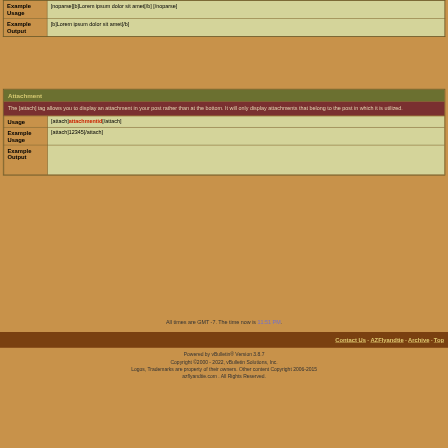| Example Usage | [noparse][b]Lorem ipsum dolor sit amet[/b] [/noparse] |
| Example Output | [b]Lorem ipsum dolor sit amet[/b] |
Attachment
The [attach] tag allows you to display an attachment in your post rather than at the bottom. It will only display attachments that belong to the post in which it is utilized.
| Usage | [attach]attachmentid[/attach] |
| Example Usage | [attach]12345[/attach] |
| Example Output |  |
All times are GMT -7. The time now is 11:51 PM.
Contact Us - AZFlyandtie - Archive - Top
Powered by vBulletin® Version 3.8.7
Copyright ©2000 - 2022, vBulletin Solutions, Inc.
Logos, Trademarks are property of their owners. Other content Copyright 2006-2015 azflyandtie.com . All Rights Reserved.